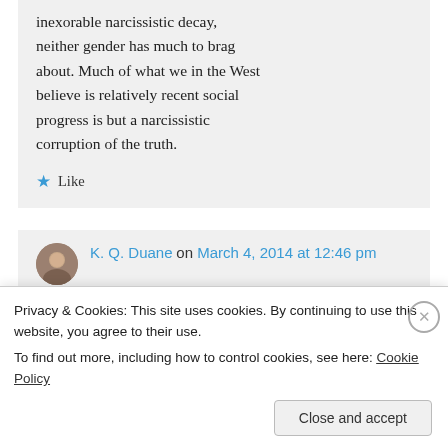inexorable narcissistic decay, neither gender has much to brag about. Much of what we in the West believe is relatively recent social progress is but a narcissistic corruption of the truth.
★ Like
K. Q. Duane on March 4, 2014 at 12:46 pm
Privacy & Cookies: This site uses cookies. By continuing to use this website, you agree to their use.
To find out more, including how to control cookies, see here: Cookie Policy